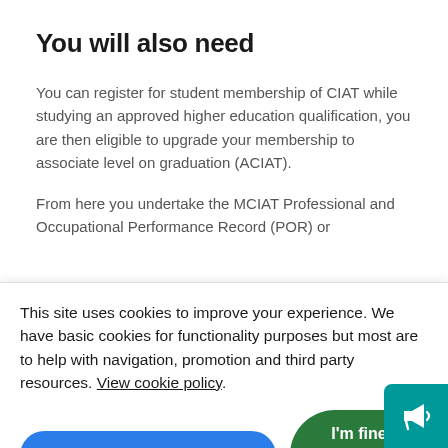You will also need
You can register for student membership of CIAT while studying an approved higher education qualification, you are then eligible to upgrade your membership to associate level on graduation (ACIAT).
From here you undertake the MCIAT Professional and Occupational Performance Record (POR) or
This site uses cookies to improve your experience. We have basic cookies for functionality purposes but most are to help with navigation, promotion and third party resources. View cookie policy.
Necessary cookies only
I'm fine with cookies